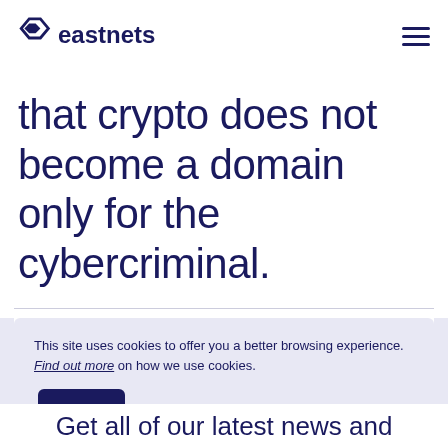eastnets [logo]
that crypto does not become a domain only for the cybercriminal.
This site uses cookies to offer you a better browsing experience. Find out more on how we use cookies.
OK   No, thanks
Get all of our latest news and